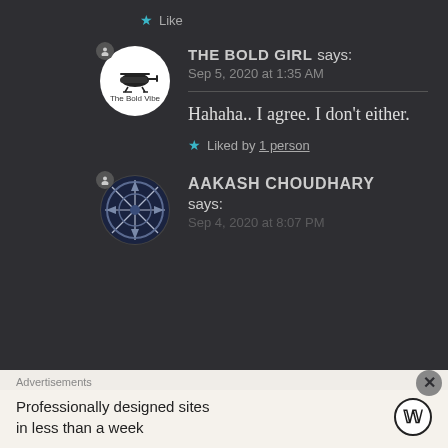★ Like
THE BOLD GIRL says:
Sep 5, 2020 at 1:35 AM
Hahaha.. I agree. I don't either.
★ Liked by 1 person
AAKASH CHOUDHARY says:
Sep 4, 2020 at 8:07 PM
Advertisements
Professionally designed sites in less than a week